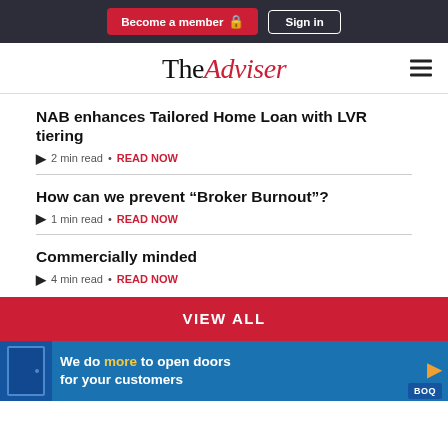Become a member | Sign in
The Adviser
NAB enhances Tailored Home Loan with LVR tiering
2 min read • READ NOW
How can we prevent “Broker Burnout”?
1 min read • READ NOW
Commercially minded
4 min read • READ NOW
VIEW ALL
[Figure (illustration): BOQ bank advertisement banner: blue background with door graphic. Text reads: We do more to open doors for your customers. BOQ logo in bottom right corner.]